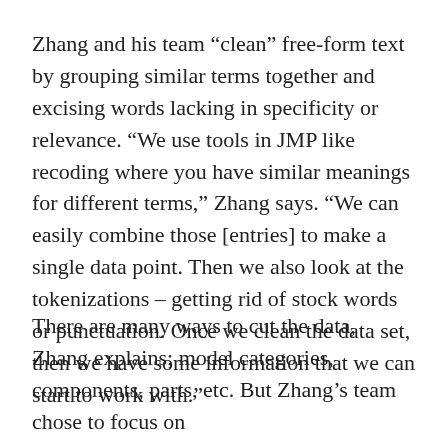Zhang and his team “clean” free-form text by grouping similar terms together and excising words lacking in specificity or relevance. “We use tools in JMP like recoding where you have similar meanings for different terms,” Zhang says. “We can easily combine those [entries] to make a single data point. Then we also look at the tokenizations – getting rid of stock words or punctuation. Once we clean the data set, then we have some information that we can start to work with.”
There are many ways to cut the data, Zhang explains; model categories, components, parts, etc. But Zhang’s team chose to focus on